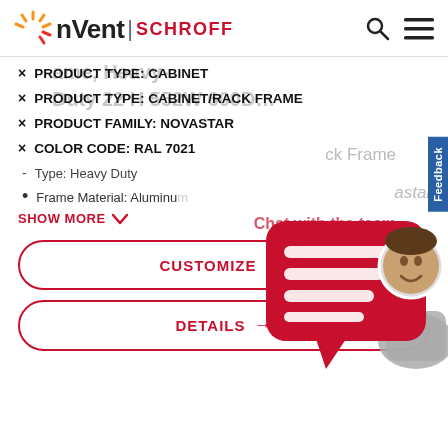[Figure (logo): nVent SCHROFF logo with sunburst icon, search and menu icons in the header]
× PRODUCT TYPE: CABINET
× PRODUCT TYPE: CABINET/RACK FRAME
× PRODUCT FAMILY: NOVASTAR
× COLOR CODE: RAL 7021
- Type: Heavy Duty
• Frame Material: Aluminum
SHOW MORE ∨
CUSTOMIZE ⚙
DETAILS →
[Figure (illustration): Red chat bubble with white text lines and a circular avatar photo of a man, overlaid with a grey thumbs-up icon and 'Chat with the team' text]
Feedback